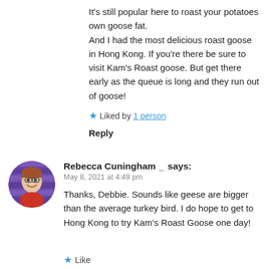It's still popular here to roast your potatoes own goose fat.
And I had the most delicious roast goose in Hong Kong. If you're there be sure to visit Kam's Roast goose. But get there early as the queue is long and they run out of goose!
★ Liked by 1 person
Reply
[Figure (photo): Circular avatar photo of Rebecca Cuningham, a woman with glasses smiling, set against a purple striped background.]
Rebecca Cuningham 🗎 says:
May 8, 2021 at 4:49 pm

Thanks, Debbie. Sounds like geese are bigger than the average turkey bird. I do hope to get to Hong Kong to try Kam's Roast Goose one day!
★ Like